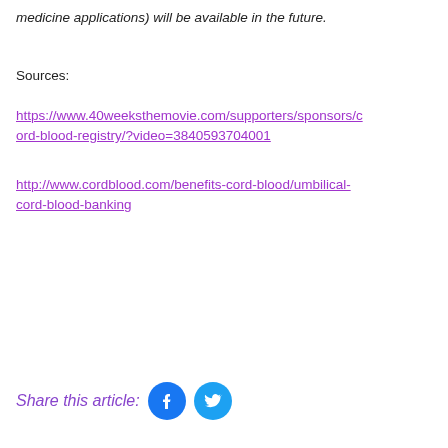medicine applications) will be available in the future.
Sources:
https://www.40weeksthemovie.com/supporters/sponsors/cord-blood-registry/?video=3840593704001
http://www.cordblood.com/benefits-cord-blood/umbilical-cord-blood-banking
Share this article: